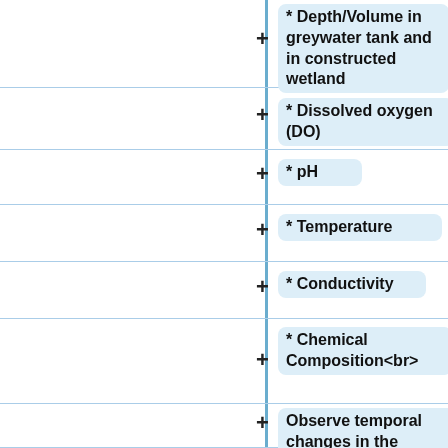* Depth/Volume in greywater tank and in constructed wetland
* Dissolved oxygen (DO)
* pH
* Temperature
* Conductivity
* Chemical Composition<br>
Observe temporal changes in the chemical composition of the water samples.<br>
[[File:The Sample Pit.jpg]]